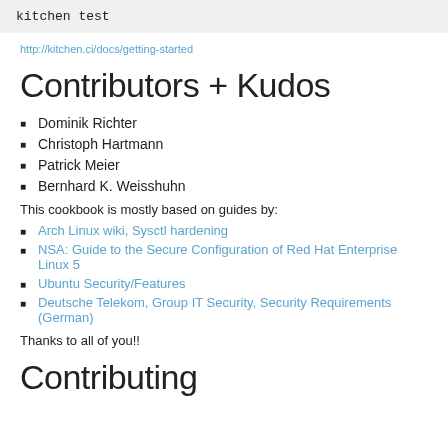kitchen test
http://kitchen.ci/docs/getting-started
Contributors + Kudos
Dominik Richter
Christoph Hartmann
Patrick Meier
Bernhard K. Weisshuhn
This cookbook is mostly based on guides by:
Arch Linux wiki, Sysctl hardening
NSA: Guide to the Secure Configuration of Red Hat Enterprise Linux 5
Ubuntu Security/Features
Deutsche Telekom, Group IT Security, Security Requirements (German)
Thanks to all of you!!
Contributing